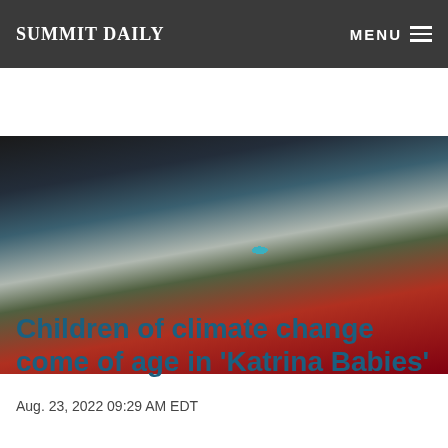Summit Daily
[Figure (photo): Close-up photo of colorful wooden planks or fence boards — dark, blue-gray, white, green, and red tones — with a teal/turquoise round object (possibly a glass ball or knob) visible in the center]
Children of climate change come of age in 'Katrina Babies'
Aug. 23, 2022 09:29 AM EDT
[Figure (photo): Partial photo of green foliage/trees at the bottom of the page, partially cropped]